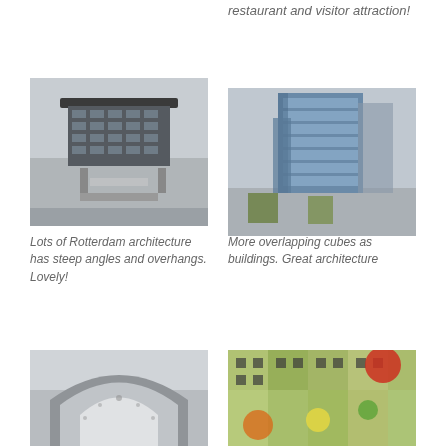restaurant and visitor attraction!
[Figure (photo): Rotterdam building with steep angles and large overhanging top floor, modernist architecture]
[Figure (photo): Modern glass office building with overlapping cube-like sections, Rotterdam skyline in background with trees]
Lots of Rotterdam architecture has steep angles and overhangs. Lovely!
More overlapping cubes as buildings. Great architecture
[Figure (photo): Large curved arch structure, the Markthal Rotterdam, grey building with large archway opening]
[Figure (photo): Interior or exterior view of colorful patterned building with vivid artwork/mural featuring flowers and bold colors]